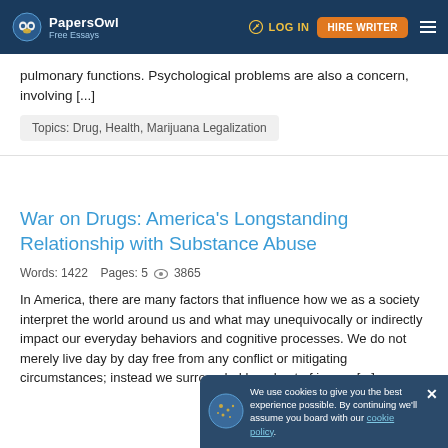PapersOwl Free Essays | LOG IN | HIRE WRITER
pulmonary functions. Psychological problems are also a concern, involving [...]
Topics: Drug, Health, Marijuana Legalization
War on Drugs: America's Longstanding Relationship with Substance Abuse
Words: 1422   Pages: 5   3865
In America, there are many factors that influence how we as a society interpret the world around us and what may unequivocally or indirectly impact our everyday behaviors and cognitive processes. We do not merely live day by day free from any conflict or mitigating circumstances; instead we surrounded by a host of issues [...]